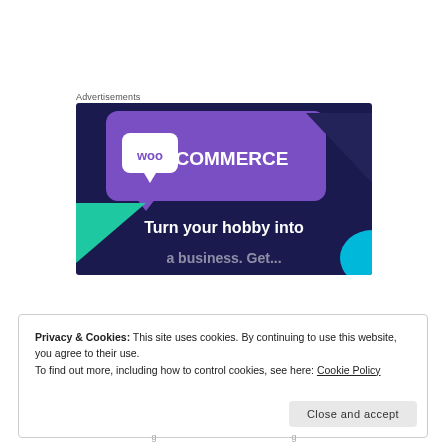Advertisements
[Figure (screenshot): WooCommerce advertisement banner with purple and dark navy background. Shows WooCommerce logo (white speech bubble with 'woo' text and 'COMMERCE' text). Tagline reads 'Turn your hobby into' (cut off). Decorative teal/cyan triangular shapes on left and right.]
Privacy & Cookies: This site uses cookies. By continuing to use this website, you agree to their use.
To find out more, including how to control cookies, see here: Cookie Policy
Close and accept